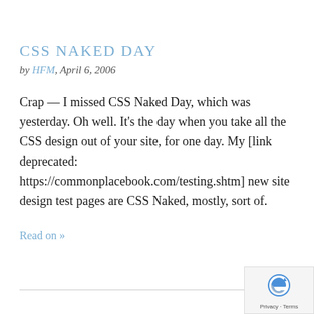CSS NAKED DAY
by HFM, April 6, 2006
Crap — I missed CSS Naked Day, which was yesterday. Oh well. It's the day when you take all the CSS design out of your site, for one day. My [link deprecated: https://commonplacebook.com/testing.shtm] new site design test pages are CSS Naked, mostly, sort of.
Read on »